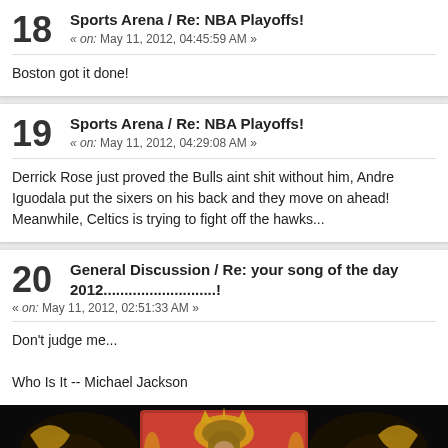18 Sports Arena / Re: NBA Playoffs! « on: May 11, 2012, 04:45:59 AM »
Boston got it done!
19 Sports Arena / Re: NBA Playoffs! « on: May 11, 2012, 04:29:08 AM »
Derrick Rose just proved the Bulls aint shit without him, Andre Iguodala put the sixers on his back and they move on ahead! Meanwhile, Celtics is trying to fight off the hawks...
20 General Discussion / Re: your song of the day 2012...........................! « on: May 11, 2012, 02:51:33 AM »
Don't judge me...

Who Is It -- Michael Jackson
[Figure (photo): Dark background image with ornate decorative design featuring a monkey figure with crown and colorful baroque-style embellishments, appears to be Michael Jackson related artwork. Text partially visible at bottom reading MICHAEL JACKSON.]